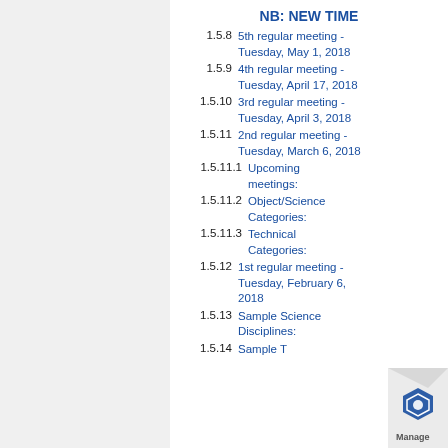NB: NEW TIME
1.5.8  5th regular meeting - Tuesday, May 1, 2018
1.5.9  4th regular meeting - Tuesday, April 17, 2018
1.5.10  3rd regular meeting - Tuesday, April 3, 2018
1.5.11  2nd regular meeting - Tuesday, March 6, 2018
1.5.11.1  Upcoming meetings:
1.5.11.2  Object/Science Categories:
1.5.11.3  Technical Categories:
1.5.12  1st regular meeting - Tuesday, February 6, 2018
1.5.13  Sample Science Disciplines:
1.5.14  Sample T...